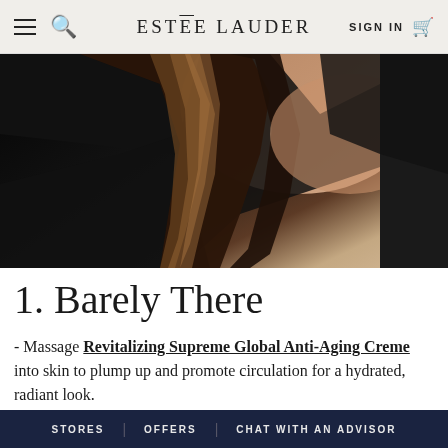ESTÉE LAUDER — SIGN IN
[Figure (photo): Woman with long brown highlighted hair wearing a black top, cropped to show neck/chest area against dark background]
1. Barely There
- Massage Revitalizing Supreme Global Anti-Aging Creme into skin to plump up and promote circulation for a hydrated, radiant look.
STORES | OFFERS | CHAT WITH AN ADVISOR